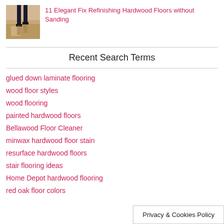[Figure (photo): Thumbnail photo of a person walking on a shiny hardwood floor]
11 Elegant Fix Refinishing Hardwood Floors without Sanding
Recent Search Terms
glued down laminate flooring
wood floor styles
wood flooring
painted hardwood floors
Bellawood Floor Cleaner
minwax hardwood floor stain
resurface hardwood floors
stair flooring ideas
Home Depot hardwood flooring
red oak floor colors
Privacy & Cookies Policy